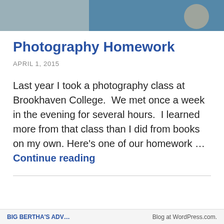[Figure (photo): A cropped photo strip showing two images side by side — left half shows a gray/beige background with some equipment, right half shows a person in a colorful patterned top against a blue background.]
Photography Homework
APRIL 1, 2015
Last year I took a photography class at Brookhaven College.  We met once a week in the evening for several hours.  I learned more from that class than I did from books on my own. Here’s one of our homework … Continue reading
BIG BERTHA’S ADV…    Blog at WordPress.com.